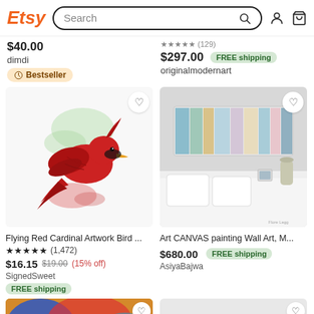Etsy Search
$40.00
dimdi
Bestseller
$297.00 FREE shipping
originalmodernart
[Figure (photo): Watercolor painting of a flying red cardinal bird with green and red paint splashes on white background]
[Figure (photo): Photo of a multicolored abstract canvas painting hanging above a bed in a bedroom setting]
Flying Red Cardinal Artwork Bird ...
★★★★★ (1,472)
$16.15  $19.00  (15% off)
SignedSweet
FREE shipping
Art CANVAS painting Wall Art, M...
$680.00  FREE shipping
AsiyaBajwa
[Figure (photo): Partial view of colorful abstract painting (cut off at bottom)]
[Figure (photo): Partial view of another listing (cut off at bottom)]